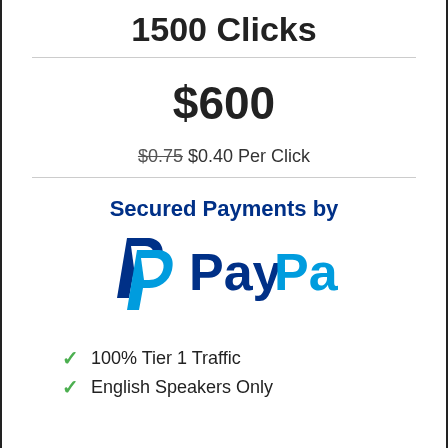1500 Clicks
$600
$0.75 $0.40 Per Click
[Figure (logo): Secured Payments by PayPal logo with PayPal icon (dark blue P and light blue P) and bold blue text]
100% Tier 1 Traffic
English Speakers Only (partially visible)